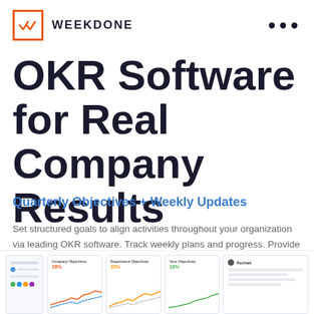WEEKDONE
OKR Software for Real Company Results
Quarterly Objectives + Weekly Updates
Set structured goals to align activities throughout your organization via leading OKR software. Track weekly plans and progress. Provide feedback and move everyone in a unified direction.
[Figure (screenshot): Dashboard screenshot showing company objectives, department objectives, your objectives panels with percentage progress charts and a Rachel user panel]